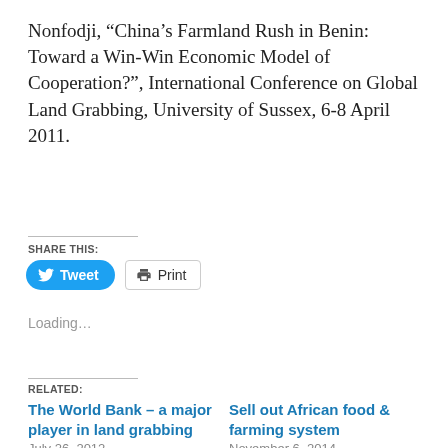Nonfodji, “China’s Farmland Rush in Benin: Toward a Win-Win Economic Model of Cooperation?”, International Conference on Global Land Grabbing, University of Sussex, 6-8 April 2011.
SHARE THIS:
[Figure (screenshot): Tweet and Print social share buttons]
Loading…
RELATED:
The World Bank – a major player in land grabbing
July 26, 2012
In “Food Security”
Sell out African food & farming system
November 6, 2014
In “Food Security”
“Understanding Land